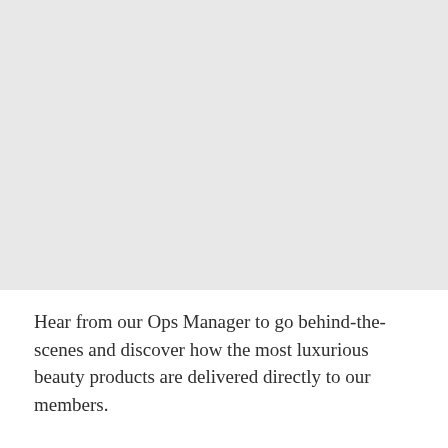[Figure (photo): Light gray placeholder image area occupying the upper portion of the page]
Hear from our Ops Manager to go behind-the-scenes and discover how the most luxurious beauty products are delivered directly to our members.